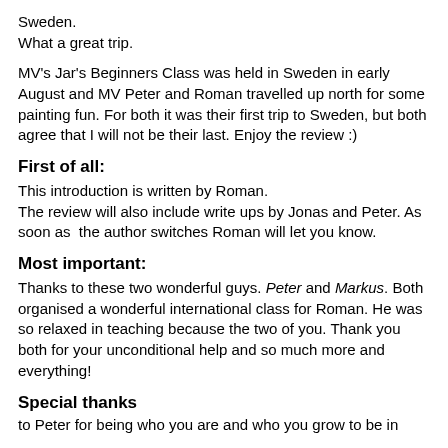Sweden.
What a great trip.
MV's Jar's Beginners Class was held in Sweden in early August and MV Peter and Roman travelled up north for some painting fun. For both it was their first trip to Sweden, but both agree that I will not be their last. Enjoy the review :)
First of all:
This introduction is written by Roman.
The review will also include write ups by Jonas and Peter. As soon as  the author switches Roman will let you know.
Most important:
Thanks to these two wonderful guys. Peter and Markus. Both organised a wonderful international class for Roman. He was so relaxed in teaching because the two of you. Thank you both for your unconditional help and so much more and everything!
Special thanks
to Peter for being who you are and who you grow to be in